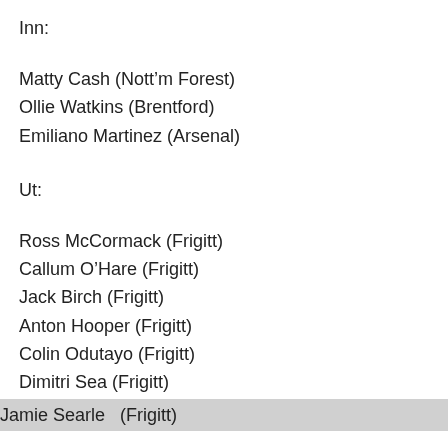Inn:
Matty Cash (Nott'm Forest)
Ollie Watkins (Brentford)
Emiliano Martinez (Arsenal)
Ut:
Ross McCormack (Frigitt)
Callum O’Hare (Frigitt)
Jack Birch (Frigitt)
Anton Hooper (Frigitt)
Colin Odutayo (Frigitt)
Dimitri Sea (Frigitt)
Jamie Searle   (Frigitt)